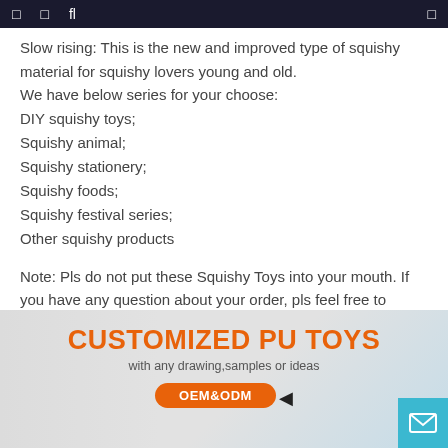□  □  fl  □
Slow rising: This is the new and improved type of squishy material for squishy lovers young and old.
We have below series for your choose:
DIY squishy toys;
Squishy animal;
Squishy stationery;
Squishy foods;
Squishy festival series;
Other squishy products
Note: Pls do not put these Squishy Toys into your mouth. If you have any question about your order, pls feel free to contact us, we will solve immediately.
[Figure (infographic): Promotional banner for Customized PU Toys with orange bold heading 'CUSTOMIZED PU TOYS', subtitle 'with any drawing, samples or ideas', and an orange OEM&ODM button with cursor icon. Right side has a blue customer service mail button.]